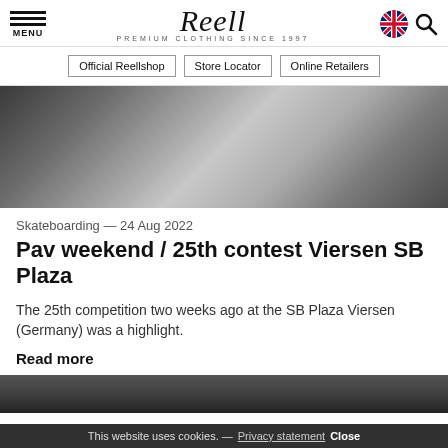MENU | Reell PREMIUM CLOTHING SINCE 1997
Official Reellshop | Store Locator | Online Retailers
[Figure (photo): Close-up photo of skateboarders in white shirts at a skate plaza event]
Skateboarding — 24 Aug 2022
Pav weekend / 25th contest Viersen SB Plaza
The 25th competition two weeks ago at the SB Plaza Viersen (Germany) was a highlight.
Read more
[Figure (photo): Partial view of another article or event photo at the bottom of the page]
This website uses cookies. — Privacy statement Close